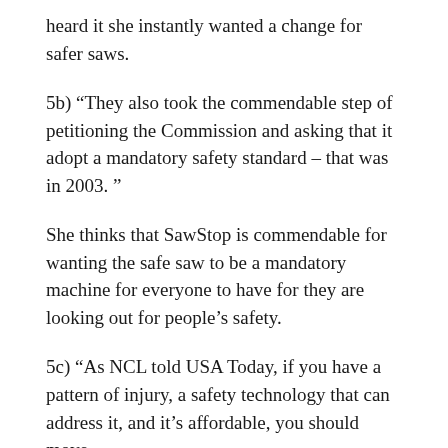heard it she instantly wanted a change for safer saws.
5b) “They also took the commendable step of petitioning the Commission and asking that it adopt a mandatory safety standard – that was in 2003. ”
She thinks that SawStop is commendable for wanting the safe saw to be a mandatory machine for everyone to have for they are looking out for people’s safety.
5c) “As NCL told USA Today, if you have a pattern of injury, a safety technology that can address it, and it’s affordable, you should move